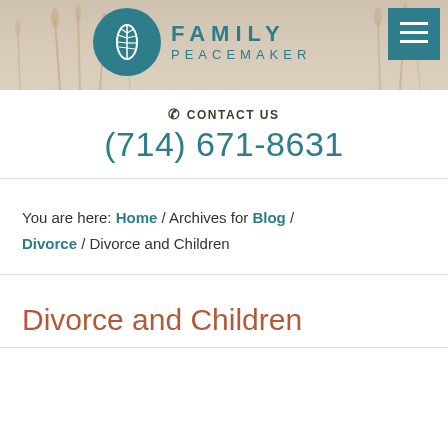[Figure (logo): Family Peacemaker logo with teal leaf circle icon and text 'FAMILY PEACEMAKER']
CONTACT US
(714) 671-8631
You are here: Home / Archives for Blog / Divorce / Divorce and Children
Divorce and Children